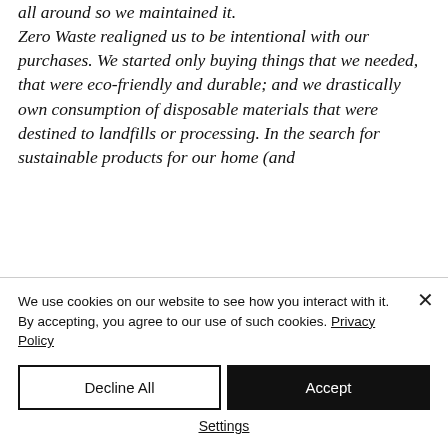all around so we maintained it.
Zero Waste realigned us to be intentional with our purchases. We started only buying things that we needed, that were eco-friendly and durable; and we drastically own consumption of disposable materials that were destined to landfills or processing. In the search for sustainable products for our home (and
We use cookies on our website to see how you interact with it. By accepting, you agree to our use of such cookies. Privacy Policy
Decline All
Accept
Settings